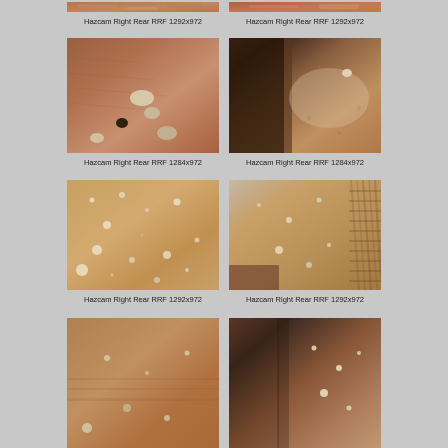[Figure (photo): Mars surface photo - Hazcam Right Rear RRF 1292x972 (top, partially cropped)]
[Figure (photo): Mars surface photo - Hazcam Right Rear RRF 1292x972 (top, partially cropped)]
Hazcam Right Rear RRF 1292x972
Hazcam Right Rear RRF 1292x972
[Figure (photo): Mars surface with rocks and sand ripples - Hazcam Right Rear RRF 1284x972]
[Figure (photo): Mars surface with rover wheel shadow - Hazcam Right Rear RRF 1284x972]
Hazcam Right Rear RRF 1284x972
Hazcam Right Rear RRF 1284x972
[Figure (photo): Mars sandy surface with white rocks - Hazcam Right Rear RRF 1292x972]
[Figure (photo): Mars surface with treads visible - Hazcam Right Rear RRF 1292x972]
Hazcam Right Rear RRF 1292x972
Hazcam Right Rear RRF 1292x972
[Figure (photo): Mars surface partially visible at bottom]
[Figure (photo): Mars surface partially visible at bottom]